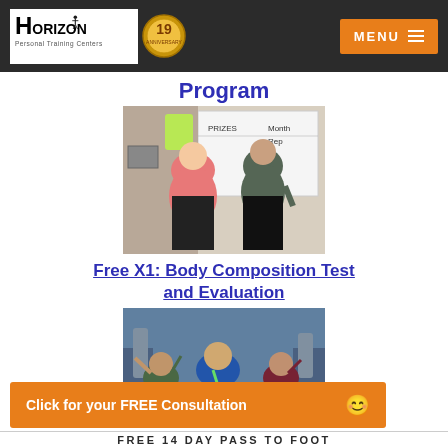Horizon Personal Training Centers | MENU
Program
[Figure (photo): Two women standing together in a gym, one in a pink top, one in a dark tank top, with a whiteboard behind them.]
Free X1: Body Composition Test and Evaluation
[Figure (photo): Group of people posing in a gym, smiling, with gym equipment visible in the background.]
Click for your FREE Consultation
FREE 14 DAY PASS TO FOOT